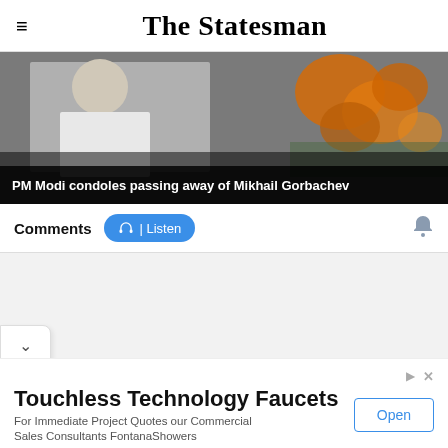The Statesman
[Figure (photo): Photo of PM Modi in white kurta with orange flowers visible; black caption bar at bottom reading: PM Modi condoles passing away of Mikhail Gorbachev]
PM Modi condoles passing away of Mikhail Gorbachev
Comments
Listen
Touchless Technology Faucets
For Immediate Project Quotes our Commercial Sales Consultants FontanaShowers
Open